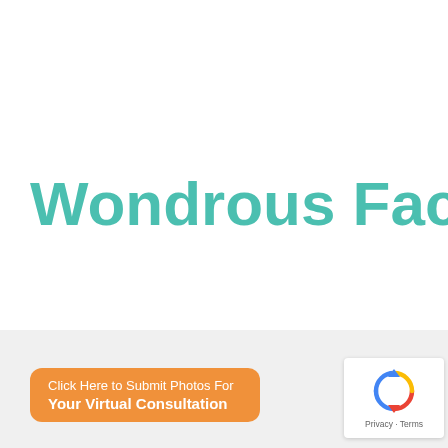Wondrous Facts
Click Here to Submit Photos For Your Virtual Consultation
[Figure (logo): reCAPTCHA logo with arrows and Privacy - Terms text]